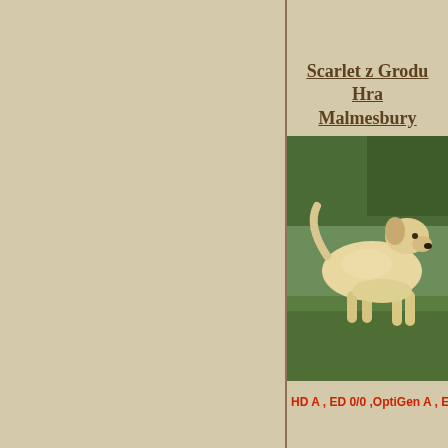Scarlet z Grodu Hrabiego Malmesbury
[Figure (photo): A yellow Labrador Retriever dog standing on grass, photographed from behind at an angle showing the dog looking to the right.]
HD A , ED 0/0 ,OptiGen A , EIC